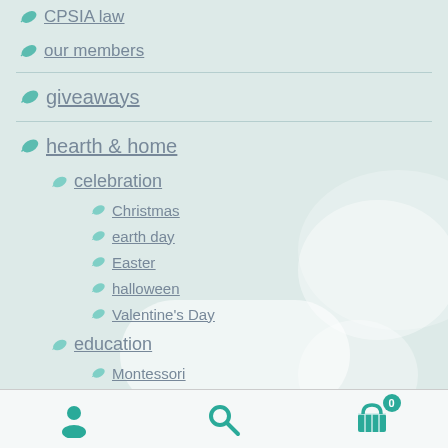CPSIA law
our members
giveaways
hearth & home
celebration
Christmas
earth day
Easter
halloween
Valentine's Day
education
Montessori
user icon | search icon | cart 0